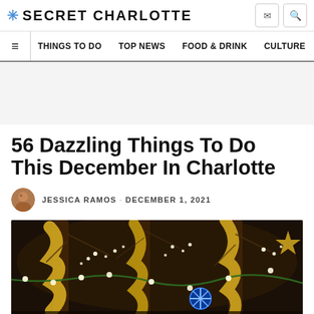SECRET CHARLOTTE
THINGS TO DO · TOP NEWS · FOOD & DRINK · CULTURE
[Figure (other): Advertisement banner placeholder (gray background)]
56 Dazzling Things To Do This December In Charlotte
JESSICA RAMOS · DECEMBER 1, 2021
[Figure (photo): Night photo of outdoor Christmas lights — yellow ribbon decorations wrapped around tree trunks, white fairy lights on bare branches, blue snowflake light ornament, dark background]